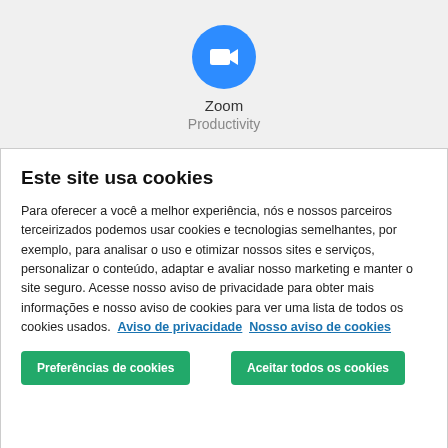[Figure (logo): Zoom app icon: blue circle with white video camera icon, with 'Zoom' label and 'Productivity' subtitle below]
Este site usa cookies
Para oferecer a você a melhor experiência, nós e nossos parceiros terceirizados podemos usar cookies e tecnologias semelhantes, por exemplo, para analisar o uso e otimizar nossos sites e serviços, personalizar o conteúdo, adaptar e avaliar nosso marketing e manter o site seguro. Acesse nosso aviso de privacidade para obter mais informações e nosso aviso de cookies para ver uma lista de todos os cookies usados. Aviso de privacidade Nosso aviso de cookies
Preferências de cookies
Aceitar todos os cookies